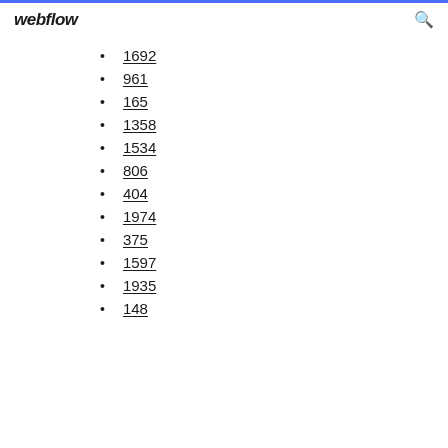webflow
1692
961
165
1358
1534
806
404
1974
375
1597
1935
148